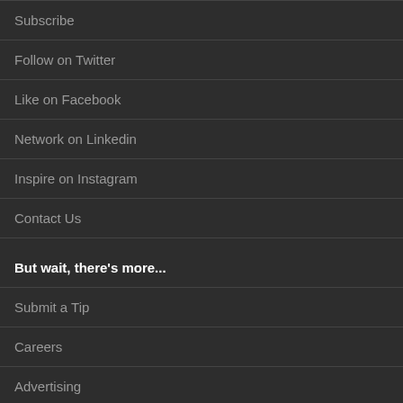Subscribe
Follow on Twitter
Like on Facebook
Network on Linkedin
Inspire on Instagram
Contact Us
But wait, there's more...
Submit a Tip
Careers
Advertising
Privacy Policy